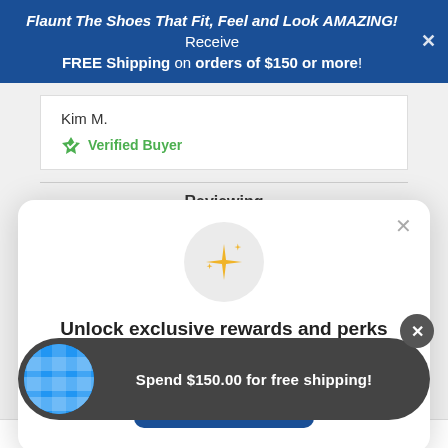Flaunt The Shoes That Fit, Feel and Look AMAZING! Receive FREE Shipping on orders of $150 or more!
Kim M.
Verified Buyer
Reviewing
[Figure (screenshot): Modal popup with sparkle icon, heading 'Unlock exclusive rewards and perks', subtext 'Sign up or Log in', and a Sign up button]
Unlock exclusive rewards and perks
Sign up or Log in
Sign up
Spend $150.00 for free shipping!